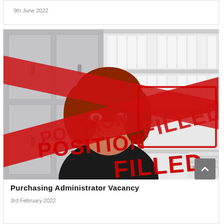9th June 2022
[Figure (photo): A smiling woman with red hair in an office with white binders/files on shelves behind her. A large red distressed stamp reading 'POSITION FILLED' is overlaid diagonally across the image.]
Purchasing Administrator Vacancy
3rd February 2022